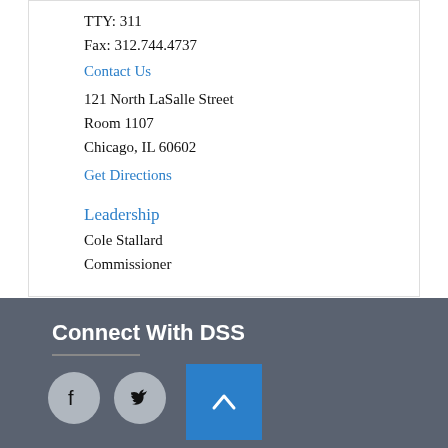TTY: 311
Fax: 312.744.4737
Contact Us
121 North LaSalle Street
Room 1107
Chicago, IL 60602
Get Directions
Leadership
Cole Stallard
Commissioner
Connect With DSS
[Figure (infographic): Facebook and Twitter social media icon circles in grey, plus a blue back-to-top arrow button]